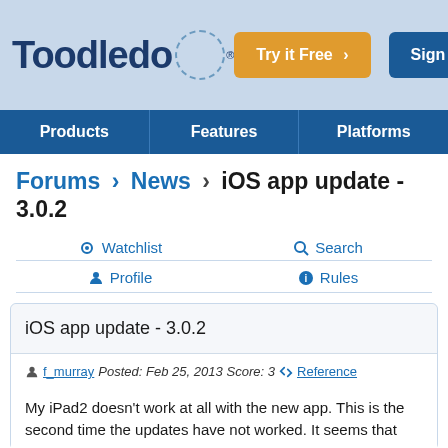[Figure (logo): Toodledo logo with dashed circle and registered mark]
Try it Free | Sign In
Products | Features | Platforms
Forums > News > iOS app update - 3.0.2
Watchlist  Search  Profile  Rules
iOS app update - 3.0.2
f_murray  Posted: Feb 25, 2013  Score: 3  Reference
My iPad2 doesn't work at all with the new app. This is the second time the updates have not worked. It seems that